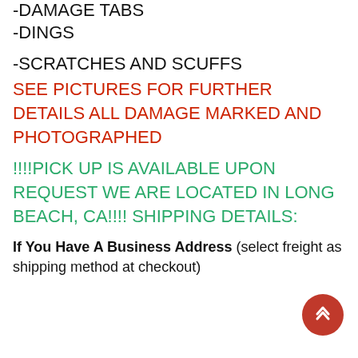-DAMAGE TABS
-DINGS
-SCRATCHES AND SCUFFS
SEE PICTURES FOR FURTHER DETAILS ALL DAMAGE MARKED AND PHOTOGRAPHED
!!!!PICK UP IS AVAILABLE UPON REQUEST WE ARE LOCATED IN LONG BEACH, CA!!!! SHIPPING DETAILS:
If You Have A Business Address (select freight as shipping method at checkout)